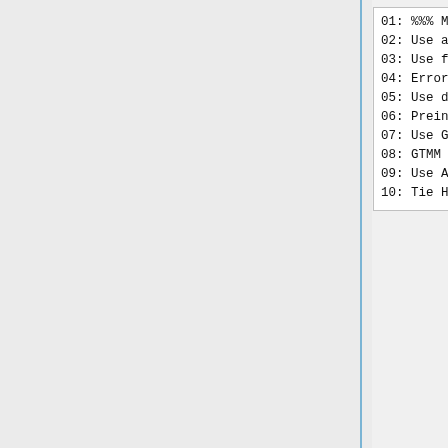[Figure (screenshot): Code/menu block showing MERCURY MENU options 01-10 in monospace font on white background]
| Line | What gets defined |  |
| --- | --- | --- |
| 1 | nothing | H... |
| 2 | Input_Opt%ANTHRO_Hg_YEAR | B... a... e... in... si... o... o... |